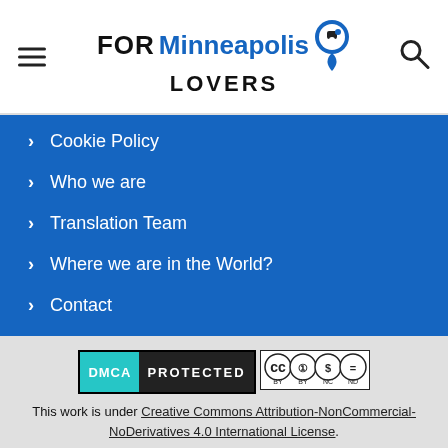FOR Minneapolis LOVERS
> Cookie Policy
> Who we are
> Translation Team
> Where we are in the World?
> Contact
[Figure (logo): DMCA PROTECTED badge]
[Figure (logo): Creative Commons BY NC ND license badge]
This work is under Creative Commons Attribution-NonCommercial-NoDerivatives 4.0 International License.
2022 / forminneapolislovers.com